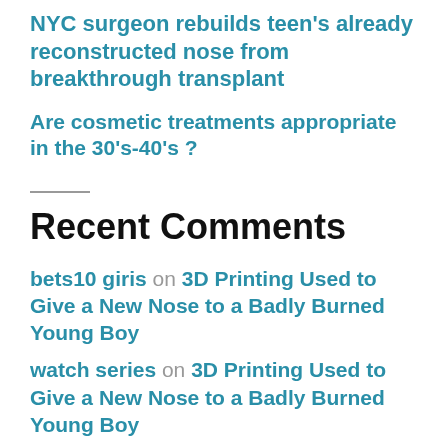NYC surgeon rebuilds teen's already reconstructed nose from breakthrough transplant
Are cosmetic treatments appropriate in the 30's-40's ?
Recent Comments
bets10 giris on 3D Printing Used to Give a New Nose to a Badly Burned Young Boy
watch series on 3D Printing Used to Give a New Nose to a Badly Burned Young Boy